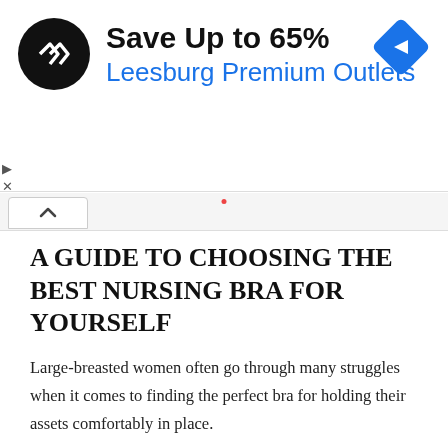[Figure (other): Advertisement banner: circular black logo with double arrow symbol, headline 'Save Up to 65%', subline 'Leesburg Premium Outlets', blue diamond navigation icon on the right. Small play and close controls on the left below the banner.]
A GUIDE TO CHOOSING THE BEST NURSING BRA FOR YOURSELF
Large-breasted women often go through many struggles when it comes to finding the perfect bra for holding their assets comfortably in place.
However, this list of best-quality nursing bras can make things easier. Apart from that, here are a few things to keep in check when you go bra-shopping:
CONVENIENCE OF FEEDING